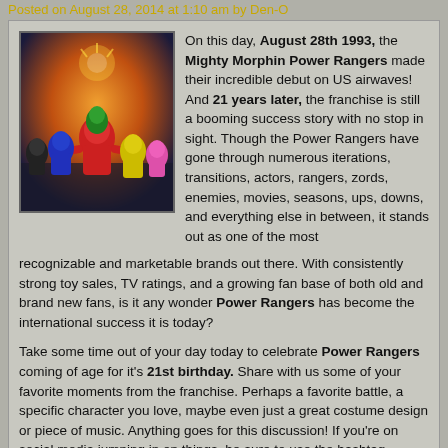Posted on August 28, 2014 at 1:10 am by Den-O
[Figure (illustration): Group illustration of Mighty Morphin Power Rangers characters in colorful suits against an orange/dramatic background]
On this day, August 28th 1993, the Mighty Morphin Power Rangers made their incredible debut on US airwaves! And 21 years later, the franchise is still a booming success story with no stop in sight. Though the Power Rangers have gone through numerous iterations, transitions, actors, rangers, zords, enemies, movies, seasons, ups, downs, and everything else in between, it stands out as one of the most recognizable and marketable brands out there. With consistently strong toy sales, TV ratings, and a growing fan base of both old and brand new fans, is it any wonder Power Rangers has become the international success it is today?
Take some time out of your day today to celebrate Power Rangers coming of age for it's 21st birthday. Share with us some of your favorite moments from the franchise. Perhaps a favorite battle, a specific character you love, maybe even just a great costume design or piece of music. Anything goes for this discussion! If you're on social media jumping in on things, be sure to use the hashtag #PowerRangers21 and make sure your special moment is seen and shared by as many people as possible!
Power Rangers has never been stronger, and it's all because of the